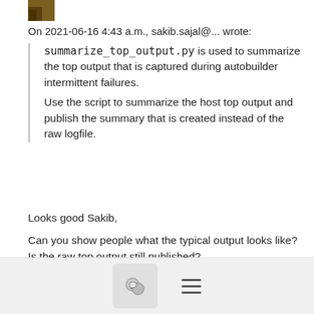[Figure (photo): Small avatar/profile photo thumbnail in top left corner]
On 2021-06-16 4:43 a.m., sakib.sajal@... wrote:
summarize_top_output.py is used to summarize the top output that is captured during autobuilder intermittent failures.
Use the script to summarize the host top output and publish the summary that is created instead of the raw logfile.
Looks good Sakib,

Can you show people what the typical output looks like?
Is the raw top output still published?

../Randy
[Figure (screenshot): Footer bar with chat/comment icon button and hamburger menu icon]